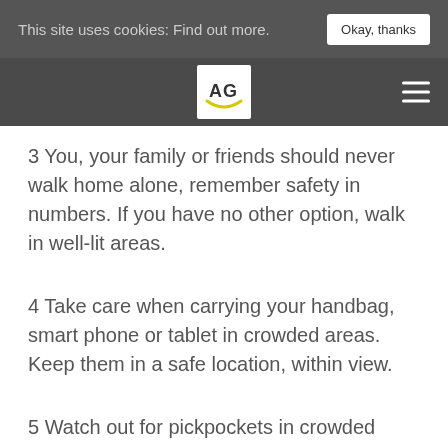This site uses cookies: Find out more.  Okay, thanks
[Figure (logo): AG logo — letter A and G with a circular yellow arc underneath, on white background, in dark navigation bar]
3 You, your family or friends should never walk home alone, remember safety in numbers. If you have no other option, walk in well-lit areas.
4 Take care when carrying your handbag, smart phone or tablet in crowded areas. Keep them in a safe location, within view.
5 Watch out for pickpockets in crowded areas. Keep handbags zipped and don't put your wallet in your